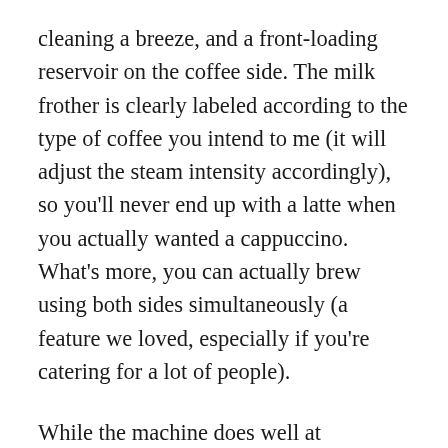cleaning a breeze, and a front-loading reservoir on the coffee side. The milk frother is clearly labeled according to the type of coffee you intend to me (it will adjust the steam intensity accordingly), so you'll never end up with a latte when you actually wanted a cappuccino. What's more, you can actually brew using both sides simultaneously (a feature we loved, especially if you're catering for a lot of people).
While the machine does well at producing various different types of coffee, we found that it sacrificed strength when it came to pulling espresso. If this is something that bothers you, then we'd suggest going for an espresso-only machine like the...